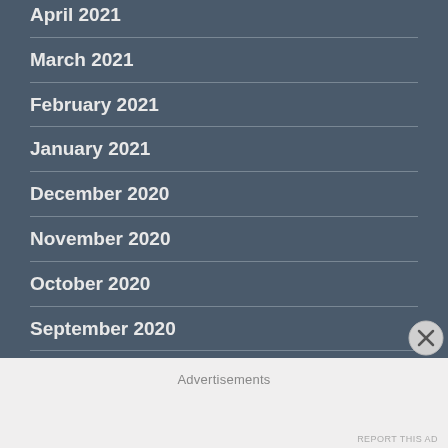April 2021
March 2021
February 2021
January 2021
December 2020
November 2020
October 2020
September 2020
August 2020
Advertisements
REPORT THIS AD